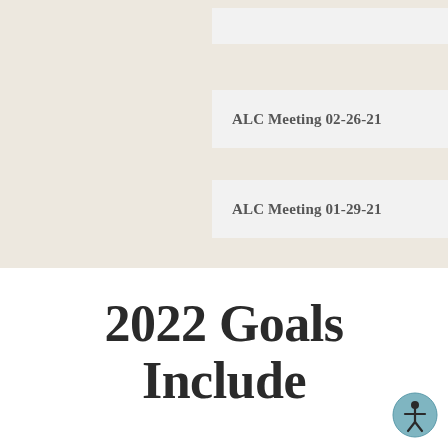ALC Meeting 02-26-21
ALC Meeting 01-29-21
2022 Goals Include